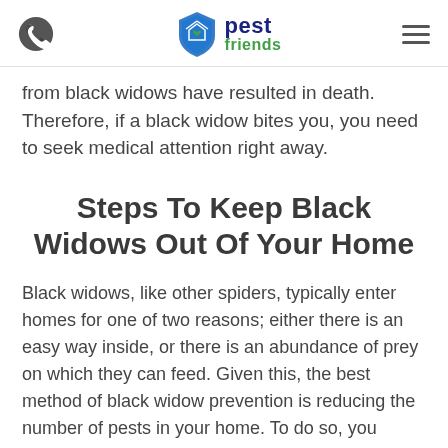pest friends
from black widows have resulted in death. Therefore, if a black widow bites you, you need to seek medical attention right away.
Steps To Keep Black Widows Out Of Your Home
Black widows, like other spiders, typically enter homes for one of two reasons; either there is an easy way inside, or there is an abundance of prey on which they can feed. Given this, the best method of black widow prevention is reducing the number of pests in your home. To do so, you